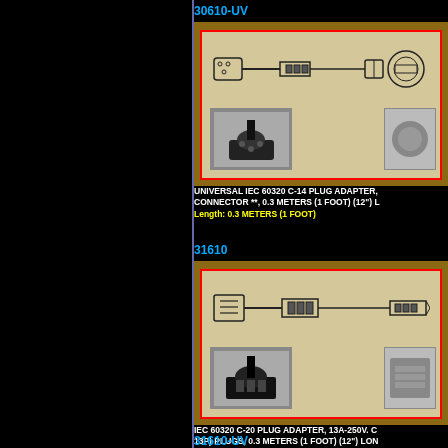30610-UV
[Figure (engineering-diagram): IEC 60320 C-14 plug adapter diagram showing connector and cable with plug photos]
UNIVERSAL IEC 60320 C-14 PLUG ADAPTER, CONNECTOR **, 0.3 METERS (1 FOOT) (12") L
Length: 0.3 METERS (1 FOOT)
31610
[Figure (engineering-diagram): IEC 60320 C-20 plug adapter diagram showing connector and cable with plug photos]
IEC 60320 C-20 PLUG ADAPTER, 13A-250V. C 13P) PLUGS, 0.3 METERS (1 FOOT) (12") LON
Length: 0.3 METERS (1 FOOT)
31610-UV